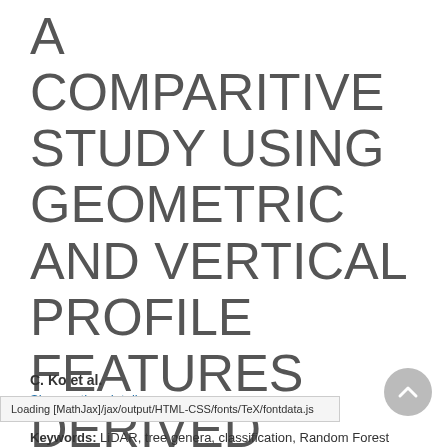A COMPARITIVE STUDY USING GEOMETRIC AND VERTICAL PROFILE FEATURES DERIVED FROM AIRBORNE LIDAR FOR CLASSIFYING TREE GENERA
C. Ko et al.
Show author details
Loading [MathJax]/jax/output/HTML-CSS/fonts/TeX/fontdata.js
Keywords: LiDAR, tree genera, classification, Random Forest